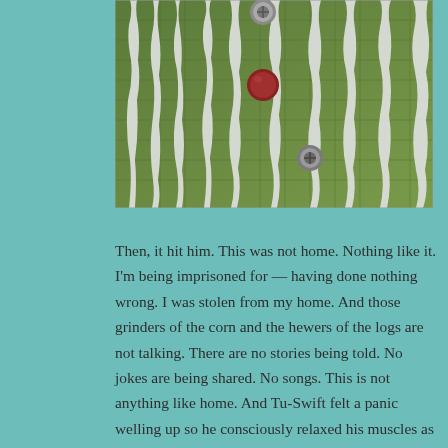[Figure (photo): Close-up photograph of a textured green surface (possibly a leaf or fabric netting) covered with white, dripping, paint-like or resin-like substance forming irregular vertical streaks, with two round metallic screw or button-like objects visible.]
Then, it hit him. This was not home. Nothing like it. I'm being imprisoned for — having done nothing wrong. I was stolen from my home. And those grinders of the corn and the hewers of the logs are not talking. There are no stories being told. No jokes are being shared. No songs. This is not anything like home. And Tu-Swift felt a panic welling up so he consciously relaxed his muscles as an antidote. Panic was not his ally. He slowed his breathing. He spoke his mantra mentally